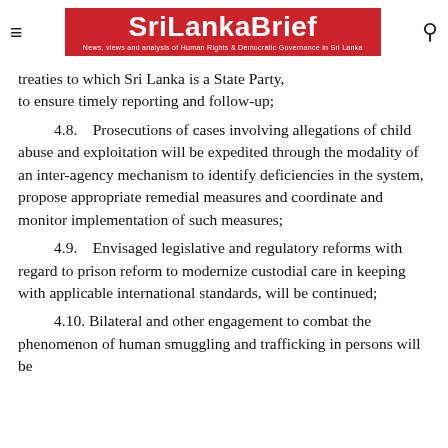SriLankaBrief — News, views and analysis of Human Rights & Democratic Governance in Sri Lanka
treaties to which Sri Lanka is a State Party, to ensure timely reporting and follow-up;
4.8.    Prosecutions of cases involving allegations of child abuse and exploitation will be expedited through the modality of an inter-agency mechanism to identify deficiencies in the system, propose appropriate remedial measures and coordinate and monitor implementation of such measures;
4.9.    Envisaged legislative and regulatory reforms with regard to prison reform to modernize custodial care in keeping with applicable international standards, will be continued;
4.10. Bilateral and other engagement to combat the phenomenon of human smuggling and trafficking in persons will be